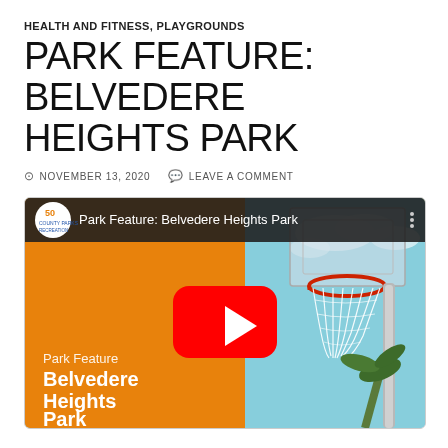HEALTH AND FITNESS, PLAYGROUNDS
PARK FEATURE: BELVEDERE HEIGHTS PARK
NOVEMBER 13, 2020   LEAVE A COMMENT
[Figure (screenshot): YouTube video thumbnail for 'Park Feature: Belvedere Heights Park' showing a basketball hoop against a blue sky, with an orange lower-left panel showing the text 'Park Feature Belvedere Heights Park', and a YouTube play button overlay in the center.]